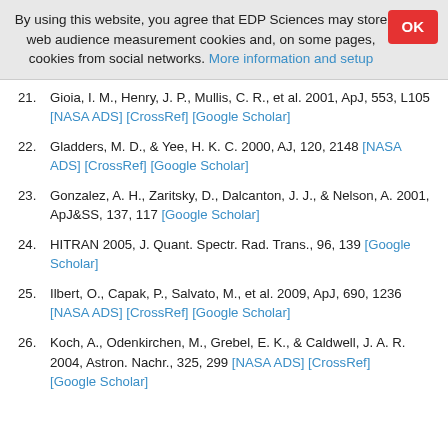By using this website, you agree that EDP Sciences may store web audience measurement cookies and, on some pages, cookies from social networks. More information and setup
21. Gioia, I. M., Henry, J. P., Mullis, C. R., et al. 2001, ApJ, 553, L105 [NASA ADS] [CrossRef] [Google Scholar]
22. Gladders, M. D., & Yee, H. K. C. 2000, AJ, 120, 2148 [NASA ADS] [CrossRef] [Google Scholar]
23. Gonzalez, A. H., Zaritsky, D., Dalcanton, J. J., & Nelson, A. 2001, ApJ&SS, 137, 117 [Google Scholar]
24. HITRAN 2005, J. Quant. Spectr. Rad. Trans., 96, 139 [Google Scholar]
25. Ilbert, O., Capak, P., Salvato, M., et al. 2009, ApJ, 690, 1236 [NASA ADS] [CrossRef] [Google Scholar]
26. Koch, A., Odenkirchen, M., Grebel, E. K., & Caldwell, J. A. R. 2004, Astron. Nachr., 325, 299 [NASA ADS] [CrossRef] [Google Scholar]